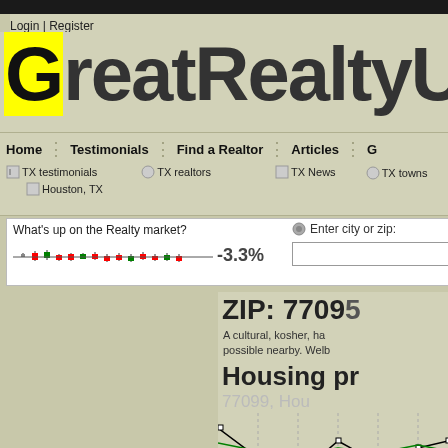Login | Register
GreatRealtyUSA.co
Home | Testimonials | Find a Realtor | Articles | G...
TX testimonials  TX realtors  TX News  TX towns  Houston, TX
What's up on the Realty market? -3.3%  Enter city or zip:  Find out
ZIP: 7709
A cultural, kosher, ha possible nearby. Welb
Housing pr
[Figure (line-chart): Housing price trend line chart for 77099, Houston area with black, green, and red lines showing price trends over time]